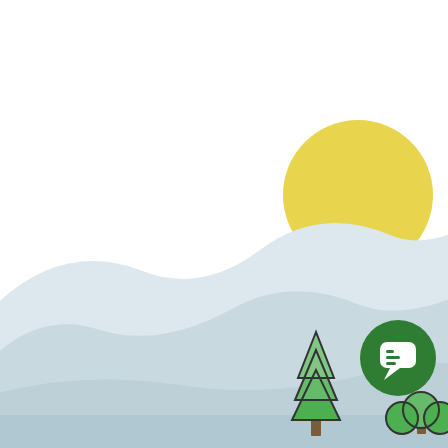The Truth About Drop Shipping from Amazon to Shopify (and Vice Versa)
[Figure (illustration): Illustrated landscape scene with a large yellow sun in the upper right, rolling light blue-grey hills/mountains in the background, a green pine tree icon and a green circle tree icon in the lower right, and a green circular chat bubble icon on the right side.]